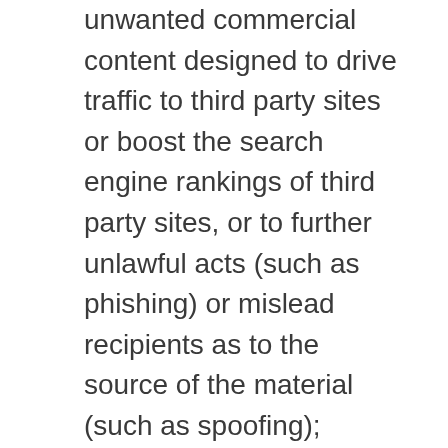unwanted commercial content designed to drive traffic to third party sites or boost the search engine rankings of third party sites, or to further unlawful acts (such as phishing) or mislead recipients as to the source of the material (such as spoofing);
the Content is not pornographic, does not contain threats or incite violence towards individuals or entities, and does not violate the privacy or publicity rights of any third party;
your blog is not getting advertised via unwanted electronic messages such as spam links on newsgroups